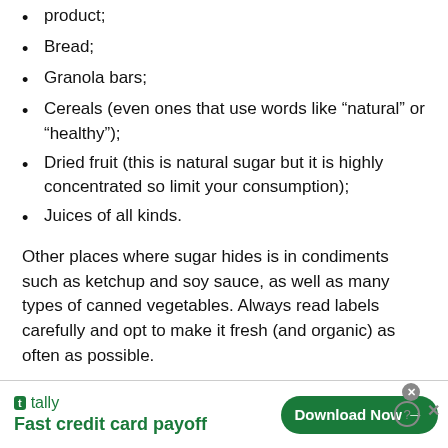product;
Bread;
Granola bars;
Cereals (even ones that use words like “natural” or “healthy”);
Dried fruit (this is natural sugar but it is highly concentrated so limit your consumption);
Juices of all kinds.
Other places where sugar hides is in condiments such as ketchup and soy sauce, as well as many types of canned vegetables. Always read labels carefully and opt to make it fresh (and organic) as often as possible.
References:
[Figure (infographic): Tally app advertisement banner: logo, tagline 'Fast credit card payoff', and a 'Download Now' button with arrow, on white background.]